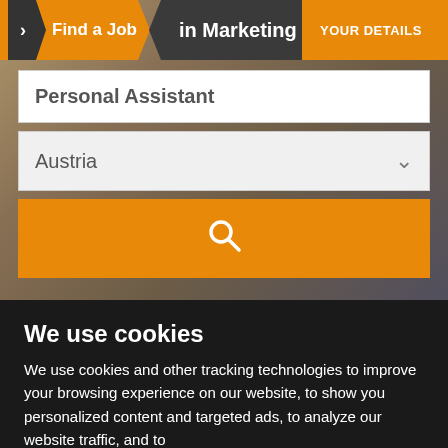[Figure (screenshot): Screenshot of a job search website showing 'Find a Job in Marketing' header banner with hero background image of a person]
Find a Job in Marketing
YOUR DETAILS
Personal Assistant
Austria
We use cookies
We use cookies and other tracking technologies to improve your browsing experience on our website, to show you personalized content and targeted ads, to analyze our website traffic, and to